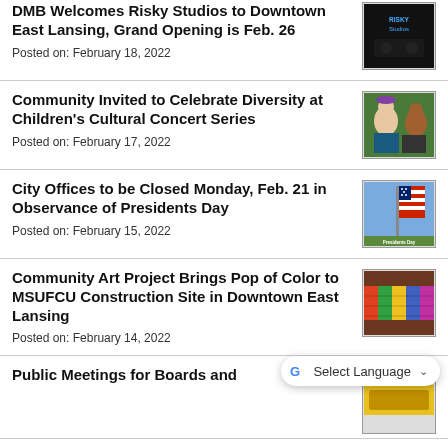DMB Welcomes Risky Studios to Downtown East Lansing, Grand Opening is Feb. 26
Posted on: February 18, 2022
[Figure (photo): Dark photo with blue neon text for Risky Studios]
Community Invited to Celebrate Diversity at Children's Cultural Concert Series
Posted on: February 17, 2022
[Figure (photo): Photo of people in colorful attire, outdoor cultural event]
City Offices to be Closed Monday, Feb. 21 in Observance of Presidents Day
Posted on: February 15, 2022
[Figure (photo): Presidents Day graphic with American flag]
Community Art Project Brings Pop of Color to MSUFCU Construction Site in Downtown East Lansing
Posted on: February 14, 2022
[Figure (photo): Colorful mural on construction site wall]
Public Meetings for Boards and